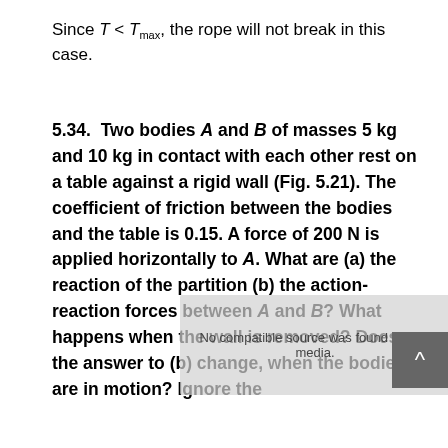Since T < T_max, the rope will not break in this case.
5.34.  Two bodies A and B of masses 5 kg and 10 kg in contact with each other rest on a table against a rigid wall (Fig. 5.21). The coefficient of friction between the bodies and the table is 0.15. A force of 200 N is applied horizontally to A. What are (a) the reaction of the partition (b) the action-reaction forces between A and B? What happens when the wall is removed? Does the answer to (b) change, when the bodies are in motion? Ignore the